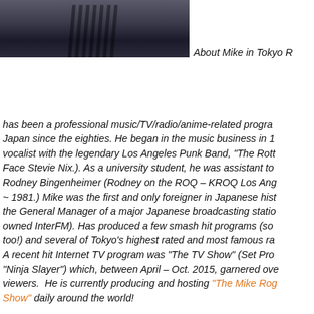[Figure (photo): Photo of Mike in Tokyo Rogers - person in dark pinstripe clothing, upper body visible]
About Mike in Tokyo Rogers has been a professional music/TV/radio/anime-related program in Japan since the eighties. He began in the music business in 1... vocalist with the legendary Los Angeles Punk Band, "The Rott... Face Stevie Nix.). As a university student, he was assistant to Rodney Bingenheimer (Rodney on the ROQ – KROQ Los Ang... ~ 1981.) Mike was the first and only foreigner in Japanese hist... the General Manager of a major Japanese broadcasting statio... owned InterFM). Has produced a few smash hit programs (so... too!) and several of Tokyo's highest rated and most famous ra... A recent hit Internet TV program was "The TV Show" (Set Pro... "Ninja Slayer") which, between April – Oct. 2015, garnered ove... viewers.  He is currently producing and hosting "The Mike Rog... Show" daily around the world!
Also, Mike is the creator and founder of the Mt. Fuji – Atami Fi... Festival. Also his life's dream is his just completed full-length m... "Ghostroads – A Japanese Rock and Roll Ghost Story," which... World-Premiere at the Raindance Film Festival in London on S...